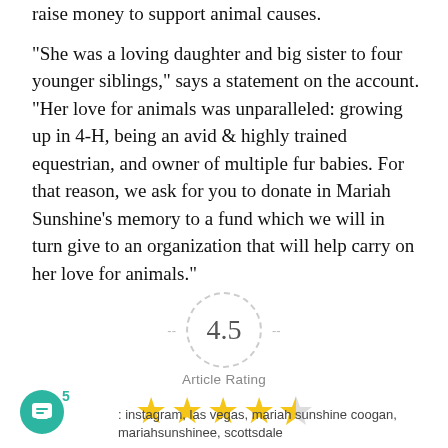raise money to support animal causes.
“She was a loving daughter and big sister to four younger siblings,” says a statement on the account. “Her love for animals was unparalleled: growing up in 4-H, being an avid & highly trained equestrian, and owner of multiple fur babies. For that reason, we ask for you to donate in Mariah Sunshine’s memory to a fund which we will in turn give to an organization that will help carry on her love for animals.”
[Figure (infographic): Article rating display showing 4.5 in a dashed circle with dashes on either side, label 'Article Rating', and 4.5 gold stars below]
5
: instagram, las vegas, mariah sunshine coogan, mariahsunshinee, scottsdale